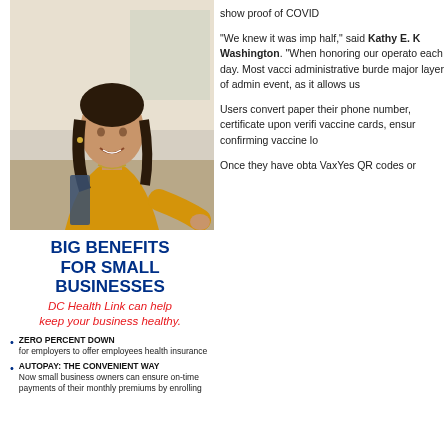[Figure (photo): Woman in yellow blouse smiling, holding a binder, gesturing with one hand, office background]
BIG BENEFITS FOR SMALL BUSINESSES
DC Health Link can help keep your business healthy.
ZERO PERCENT DOWN for employers to offer employees health insurance
AUTOPAY: THE CONVENIENT WAY Now small business owners can ensure on-time payments of their monthly premiums by enrolling
show proof of COVID
“We knew it was imp half,” said Kathy E. K Washington. “When honoring our operato each day. Most vacci administrative burde major layer of admin event, as it allows us
Users convert paper their phone number, certificate upon verifi vaccine cards, ensur confirming vaccine lo
Once they have obta VaxYes QR codes or